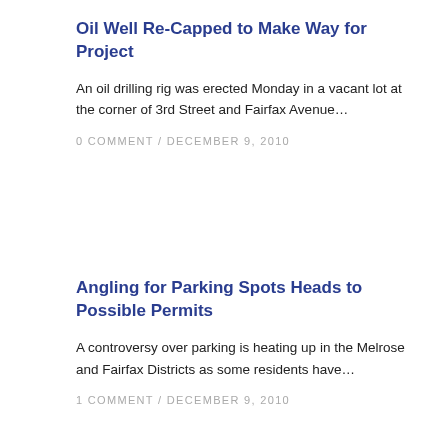Oil Well Re-Capped to Make Way for Project
An oil drilling rig was erected Monday in a vacant lot at the corner of 3rd Street and Fairfax Avenue…
0 COMMENT / DECEMBER 9, 2010
Angling for Parking Spots Heads to Possible Permits
A controversy over parking is heating up in the Melrose and Fairfax Districts as some residents have…
1 COMMENT / DECEMBER 9, 2010